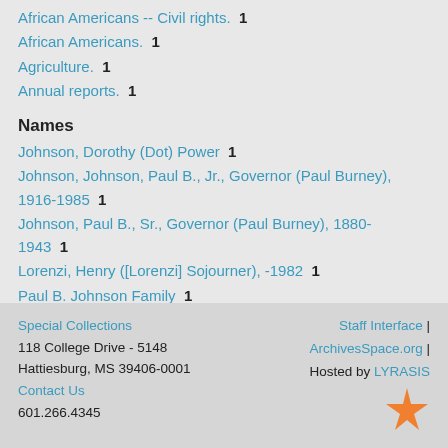African Americans -- Civil rights.  1
African Americans.  1
Agriculture.  1
Annual reports.  1
Names
Johnson, Dorothy (Dot) Power  1
Johnson, Johnson, Paul B., Jr., Governor (Paul Burney), 1916-1985  1
Johnson, Paul B., Sr., Governor (Paul Burney), 1880-1943  1
Lorenzi, Henry ([Lorenzi] Sojourner), -1982  1
Paul B. Johnson Family  1
∨ more
Special Collections
118 College Drive - 5148
Hattiesburg, MS 39406-0001
Contact Us
601.266.4345
Staff Interface | ArchivesSpace.org | Hosted by LYRASIS